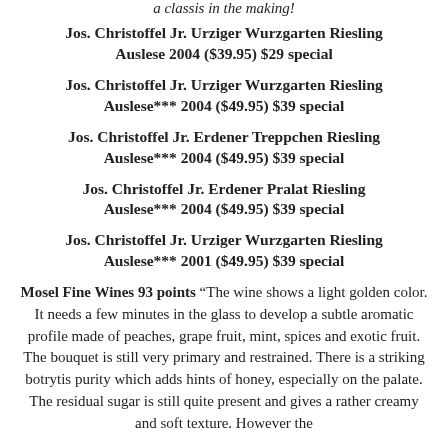a classis in the making!
Jos. Christoffel Jr. Urziger Wurzgarten Riesling Auslese 2004 ($39.95) $29 special
Jos. Christoffel Jr. Urziger Wurzgarten Riesling Auslese*** 2004 ($49.95) $39 special
Jos. Christoffel Jr. Erdener Treppchen Riesling Auslese*** 2004 ($49.95) $39 special
Jos. Christoffel Jr. Erdener Pralat Riesling Auslese*** 2004 ($49.95) $39 special
Jos. Christoffel Jr. Urziger Wurzgarten Riesling Auslese*** 2001 ($49.95) $39 special
Mosel Fine Wines 93 points “The wine shows a light golden color. It needs a few minutes in the glass to develop a subtle aromatic profile made of peaches, grape fruit, mint, spices and exotic fruit. The bouquet is still very primary and restrained. There is a striking botrytis purity which adds hints of honey, especially on the palate. The residual sugar is still quite present and gives a rather creamy and soft texture. However the